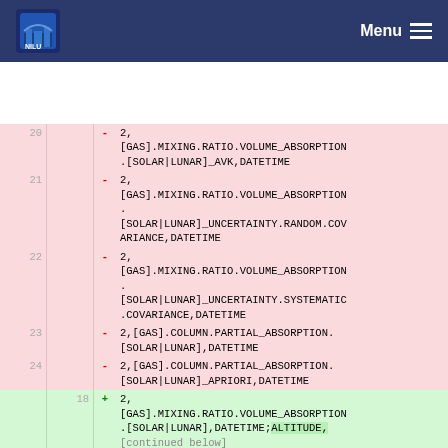NILU Menu
20  - 2,
[GAS].MIXING.RATIO.VOLUME_ABSORPTION.[SOLAR|LUNAR]_AVK,DATETIME
21  - 2,
[GAS].MIXING.RATIO.VOLUME_ABSORPTION.
[SOLAR|LUNAR]_UNCERTAINTY.RANDOM.COVARIANCE,DATETIME
22  - 2,
[GAS].MIXING.RATIO.VOLUME_ABSORPTION.
[SOLAR|LUNAR]_UNCERTAINTY.SYSTEMATIC.COVARIANCE,DATETIME
23  - 2,[GAS].COLUMN.PARTIAL_ABSORPTION.[SOLAR|LUNAR],DATETIME
24  - 2,[GAS].COLUMN.PARTIAL_ABSORPTION.[SOLAR|LUNAR]_APRIORI,DATETIME
18  + 2,
[GAS].MIXING.RATIO.VOLUME_ABSORPTION.[SOLAR|LUNAR],DATETIME;ALTITUDE,
[continued]